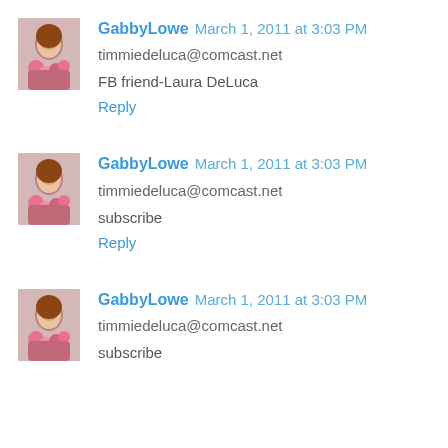GabbyLowe  March 1, 2011 at 3:03 PM
timmiedeluca@comcast.net

FB friend-Laura DeLuca
Reply
[Figure (photo): Avatar photo of GabbyLowe - woman with flowers]
GabbyLowe  March 1, 2011 at 3:03 PM
timmiedeluca@comcast.net

subscribe
Reply
[Figure (photo): Avatar photo of GabbyLowe - woman with flowers]
GabbyLowe  March 1, 2011 at 3:03 PM
timmiedeluca@comcast.net

subscribe
[Figure (photo): Avatar photo of GabbyLowe - woman with flowers]